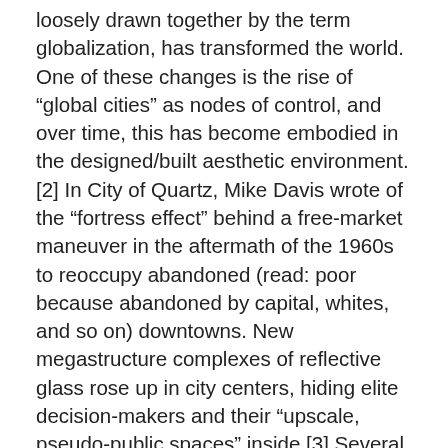loosely drawn together by the term globalization, has transformed the world. One of these changes is the rise of "global cities" as nodes of control, and over time, this has become embodied in the designed/built aesthetic environment.[2] In City of Quartz, Mike Davis wrote of the "fortress effect" behind a free-market maneuver in the aftermath of the 1960s to reoccupy abandoned (read: poor because abandoned by capital, whites, and so on) downtowns. New megastructure complexes of reflective glass rose up in city centers, hiding elite decision-makers and their "upscale, pseudo-public spaces" inside.[3] Several decades later, with global capitalism seemingly triumphant, brazenly transparent architecture is replacing secretive one-way windows. Just take a peek at the revitalized Potsdamer Platz in Berlin, Germany. Corporate office-apartment buildings of see-through glass reveal lavish interior designs, and are ringed by airy public plazas featuring cheerful sculptures, artsy ecological waterways, and multimedia installations.